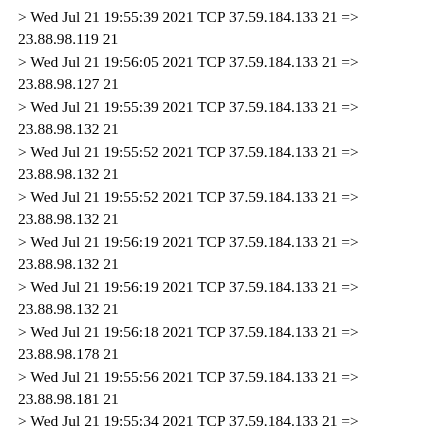> Wed Jul 21 19:55:39 2021 TCP 37.59.184.133 21 => 23.88.98.119 21
> Wed Jul 21 19:56:05 2021 TCP 37.59.184.133 21 => 23.88.98.127 21
> Wed Jul 21 19:55:39 2021 TCP 37.59.184.133 21 => 23.88.98.132 21
> Wed Jul 21 19:55:52 2021 TCP 37.59.184.133 21 => 23.88.98.132 21
> Wed Jul 21 19:55:52 2021 TCP 37.59.184.133 21 => 23.88.98.132 21
> Wed Jul 21 19:56:19 2021 TCP 37.59.184.133 21 => 23.88.98.132 21
> Wed Jul 21 19:56:19 2021 TCP 37.59.184.133 21 => 23.88.98.132 21
> Wed Jul 21 19:56:18 2021 TCP 37.59.184.133 21 => 23.88.98.178 21
> Wed Jul 21 19:55:56 2021 TCP 37.59.184.133 21 => 23.88.98.181 21
> Wed Jul 21 19:55:34 2021 TCP 37.59.184.133 21 =>